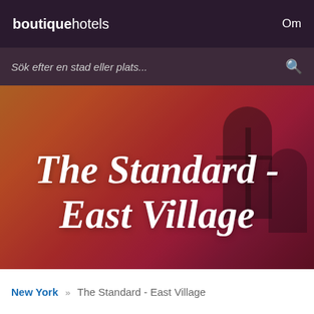boutiquehotels   Om
Sök efter en stad eller plats...
[Figure (photo): Hero image of The Standard - East Village hotel with gradient red-orange overlay and silhouetted figures in background]
The Standard - East Village
New York » The Standard - East Village